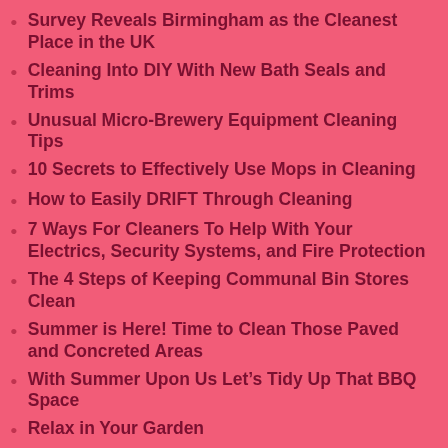Survey Reveals Birmingham as the Cleanest Place in the UK
Cleaning Into DIY With New Bath Seals and Trims
Unusual Micro-Brewery Equipment Cleaning Tips
10 Secrets to Effectively Use Mops in Cleaning
How to Easily DRIFT Through Cleaning
7 Ways For Cleaners To Help With Your Electrics, Security Systems, and Fire Protection
The 4 Steps of Keeping Communal Bin Stores Clean
Summer is Here! Time to Clean Those Paved and Concreted Areas
With Summer Upon Us Let’s Tidy Up That BBQ Space
Relax in Your Garden
Deal With Your Rubbish The Right Way
7 Steps to Easy Window Cleaning
A Full Range of Domestic & Commercial Cleaning Services in Birmingham
Where Our 7 Reasons Can Be Misunderstood